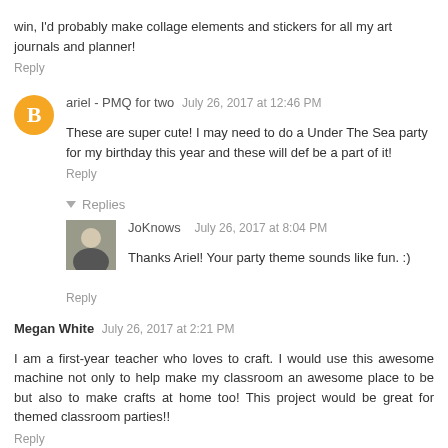win, I'd probably make collage elements and stickers for all my art journals and planner!
Reply
ariel - PMQ for two  July 26, 2017 at 12:46 PM
These are super cute! I may need to do a Under The Sea party for my birthday this year and these will def be a part of it!
Reply
Replies
JoKnows  July 26, 2017 at 8:04 PM
Thanks Ariel! Your party theme sounds like fun. :)
Reply
Megan White  July 26, 2017 at 2:21 PM
I am a first-year teacher who loves to craft. I would use this awesome machine not only to help make my classroom an awesome place to be but also to make crafts at home too! This project would be great for themed classroom parties!!
Reply